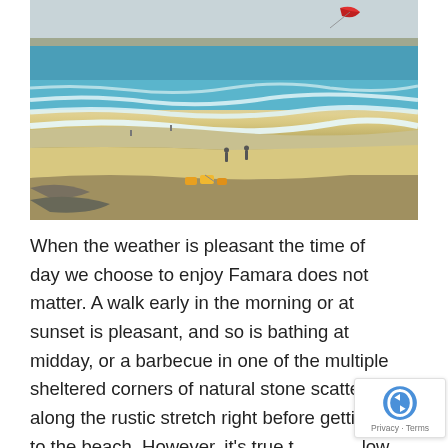[Figure (photo): Aerial/elevated view of Famara beach, Lanzarote. Wide sandy beach with turquoise ocean waves, a few people walking along the shoreline, kite surfing kite visible in upper right sky, rocky foreground, and colorful kite surfing equipment on the sand in the lower portion.]
When the weather is pleasant the time of day we choose to enjoy Famara does not matter. A walk early in the morning or at sunset is pleasant, and so is bathing at midday, or a barbecue in one of the multiple sheltered corners of natural stone scattered along the rustic stretch right before getting to the beach. However, it's true that at low tide Famara reaches its maximum splendour. And if to the low tide we add the fact that the calendar says it's